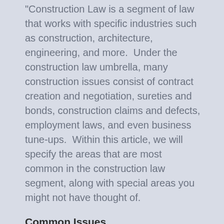"Construction Law is a segment of law that works with specific industries such as construction, architecture, engineering, and more.  Under the construction law umbrella, many construction issues consist of contract creation and negotiation, sureties and bonds, construction claims and defects, employment laws, and even business tune-ups.  Within this article, we will specify the areas that are most common in the construction law segment, along with special areas you might not have thought of.
Common Issues
Construction Law comes in many different shapes and sizes.  Between construction professionals, design professionals and homeowners, the list of disputes and complaints that may arise among them are never shocking to our firm, and are typical for this